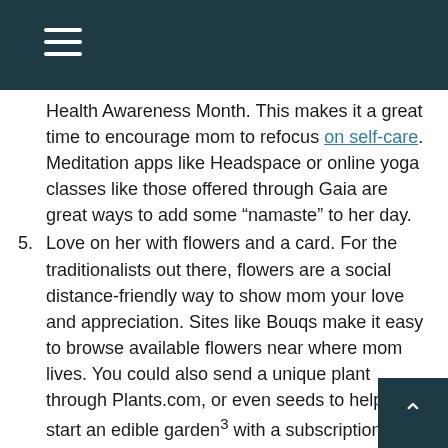Navigation menu bar with hamburger icon
...Health Awareness Month. This makes it a great time to encourage mom to refocus on self-care. Meditation apps like Headspace or online yoga classes like those offered through Gaia are great ways to add some “namaste” to her day.
5. Love on her with flowers and a card. For the traditionalists out there, flowers are a social distance-friendly way to show mom your love and appreciation. Sites like Bouqs make it easy to browse available flowers near where mom lives. You could also send a unique plant through Plants.com, or even seeds to help her start an edible garden³ with a subscription to a seed-of-the-month club like Grow Journey.
6. Create a spa day. She may not be able to go to the spa — but now you can bring the spa to her. Send her a beautifully arranged spa kit⁴, and — if you want to go all-out — throw in a bottle of her favorite w... and a one-month subscription to Audible⁵ or Sp... Premium family⁶,so she can relax to her favorite books and music.